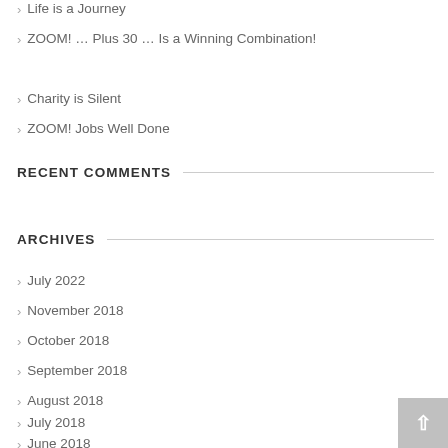Life is a Journey
ZOOM! … Plus 30 … Is a Winning Combination!
Charity is Silent
ZOOM! Jobs Well Done
RECENT COMMENTS
ARCHIVES
July 2022
November 2018
October 2018
September 2018
August 2018
July 2018
June 2018